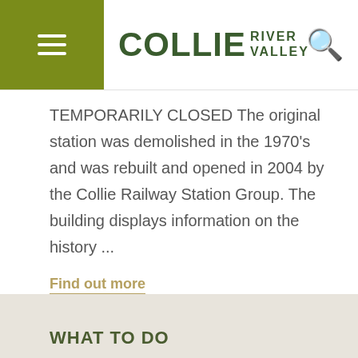COLLIE RIVER VALLEY
TEMPORARILY CLOSED The original station was demolished in the 1970's and was rebuilt and opened in 2004 by the Collie Railway Station Group. The building displays information on the history ...
Find out more
WHAT TO DO